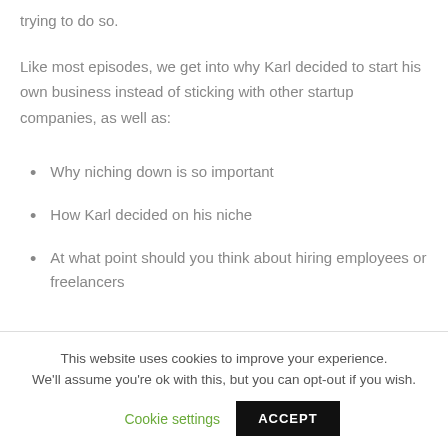trying to do so.
Like most episodes, we get into why Karl decided to start his own business instead of sticking with other startup companies, as well as:
Why niching down is so important
How Karl decided on his niche
At what point should you think about hiring employees or freelancers
This website uses cookies to improve your experience. We'll assume you're ok with this, but you can opt-out if you wish. Cookie settings ACCEPT